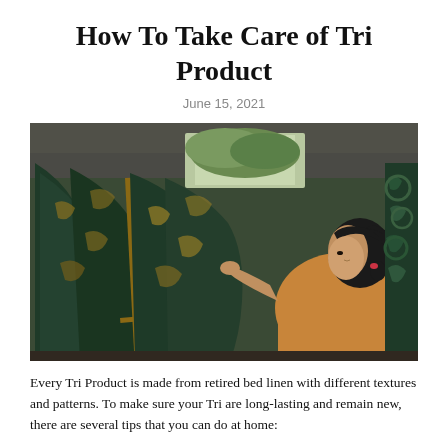How To Take Care of Tri Product
June 15, 2021
[Figure (photo): A woman in an orange/tan top with dark hair working with draped dark green and gold patterned batik fabric on a loom-like frame in a workshop setting. Green patterned textiles hang in the background.]
Every Tri Product is made from retired bed linen with different textures and patterns. To make sure your Tri are long-lasting and remain new, there are several tips that you can do at home: